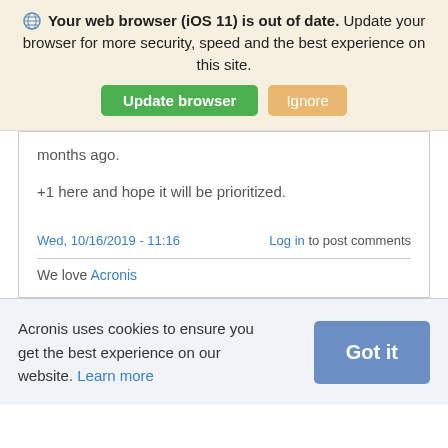Your web browser (iOS 11) is out of date. Update your browser for more security, speed and the best experience on this site.
[Figure (screenshot): Update browser and Ignore buttons in a browser update notification banner]
months ago.
+1 here and hope it will be prioritized.
Wed, 10/16/2019 - 11:16   Log in to post comments
We love Acronis
Acronis uses cookies to ensure you get the best experience on our website. Learn more